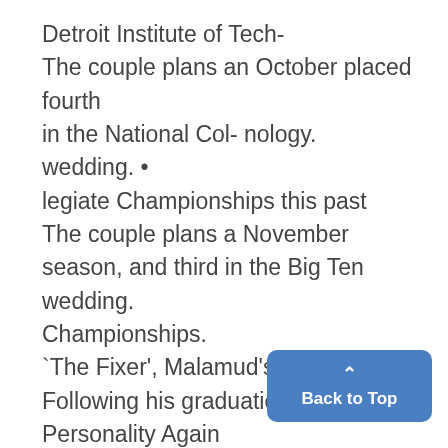Detroit Institute of Tech-
The couple plans an October placed fourth in the National Col- nology.
wedding. •
legiate Championships this past
The couple plans a November
season, and third in the Big Ten wedding.
Championships.
`The Fixer', Malamud's
Following his graduation from TV
Personality Again
Novel, Due on Sept. 7
the University of Notre Dame i
ORCHESTRA
Back to Top